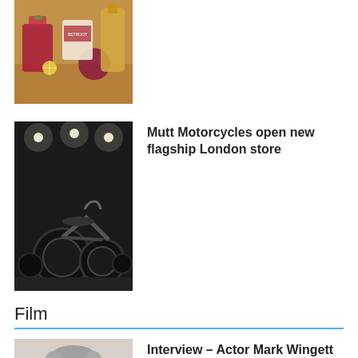[Figure (photo): Drinks with bottles including Betroot brand, red cocktail with garnish and lemon slice]
[Figure (photo): Mutt Motorcycles interior showroom with dark motorcycles and overhead lights]
Mutt Motorcycles open new flagship London store
Film
[Figure (photo): Middle-aged man with grey hair wearing sunglasses and a light shirt — actor Mark Wingett]
Interview – Actor Mark Wingett